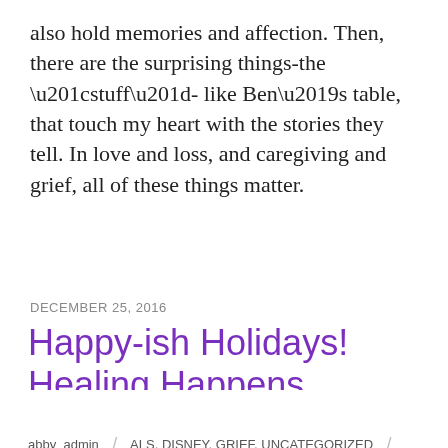also hold memories and affection. Then, there are the surprising things-the “stuff”- like Ben’s table, that touch my heart with the stories they tell. In love and loss, and caregiving and grief, all of these things matter.
DECEMBER 25, 2016
Happy-ish Holidays! Healing Happens
abby_admin / ALS, DISNEY, GRIEF, UNCATEGORIZED / ALS, caregiving, Chanukah, Christmas, Disney, grief, Holidays / 1 Comment